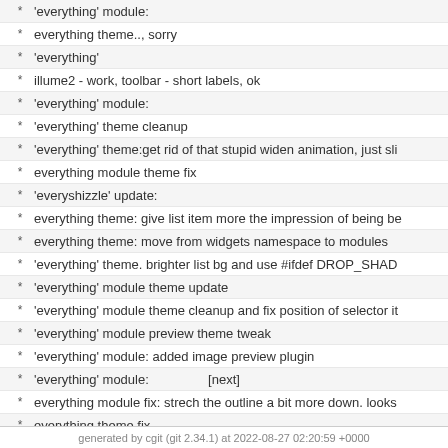* 'everything' module:
* everything theme.., sorry
* 'everything'
* illume2 - work, toolbar - short labels, ok
* 'everything' module:
* 'everything' theme cleanup
* 'everything' theme:get rid of that stupid widen animation, just sli
* everything module theme fix
* 'everyshizzle' update:
* everything theme: give list item more the impression of being be
* everything theme: move from widgets namespace to modules
* 'everything' theme. brighter list bg and use #ifdef DROP_SHAD
* 'everything' module theme update
* 'everything' module theme cleanup and fix position of selector it
* 'everything' module preview theme tweak
* 'everything' module: added image preview plugin
* 'everything' module:
* everything module fix: strech the outline a bit more down. looks
* everything theme fix
* everything theme..
[next]
generated by cgit (git 2.34.1) at 2022-08-27 02:20:59 +0000